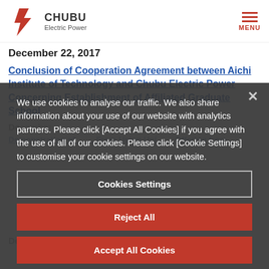[Figure (logo): Chubu Electric Power logo with red lightning bolt and company name]
December 22, 2017
Conclusion of Cooperation Agreement between Aichi Institute of Technology and Chubu Electric Power Concerning Establishment of Affiliated Graduate School
We use cookies to analyse our traffic. We also share information about your use of our website with analytics partners. Please click [Accept All Cookies] if you agree with the use of all of our cookies. Please click [Cookie Settings] to customise your cookie settings on our website.
Cookies Settings
Reject All
Accept All Cookies